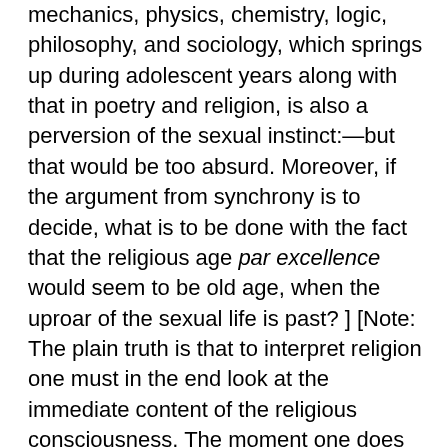mechanics, physics, chemistry, logic, philosophy, and sociology, which springs up during adolescent years along with that in poetry and religion, is also a perversion of the sexual instinct:—but that would be too absurd. Moreover, if the argument from synchrony is to decide, what is to be done with the fact that the religious age par excellence would seem to be old age, when the uproar of the sexual life is past? ] [Note: The plain truth is that to interpret religion one must in the end look at the immediate content of the religious consciousness. The moment one does this, one sees how wholly disconnected it is in the main from the content of the sexual consciousness. Everything about the two things differs, objects, moods, faculties concerned, and acts impelled to. Any general assimilation is simply impossible: what we find most often is complete hostility and contrast. If now the defenders of the sex-theory say that this makes no difference to their thesis; that without the chemical contributions which the sex-organs make to the blood, the brain would not be nourished so as to carry on religious activities, this final proposition may be true or not true; but at any rate it has become profoundly uninstructive: we can deduce no consequences from it which help us to interpret